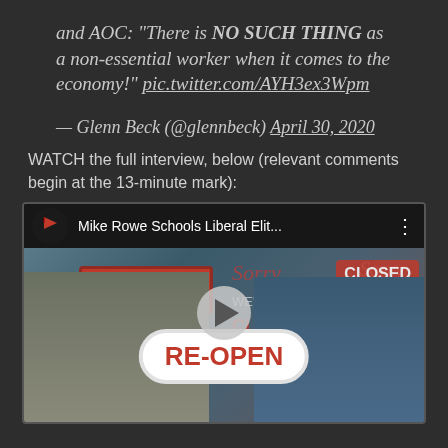and AOC: "There is NO SUCH THING as a non-essential worker when it comes to the economy!" pic.twitter.com/AYH3ex3Wpm
— Glenn Beck (@glennbeck) April 30, 2020
WATCH the full interview, below (relevant comments begin at the 13-minute mark):
[Figure (screenshot): YouTube video thumbnail showing two men in front of 'CLOSED' and 'RE-OPEN' signs. Video title: 'Mike Rowe Schools Liberal Elit...'. There is a play button in the center.]